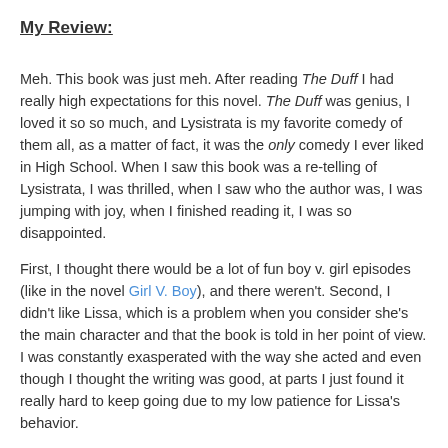My Review:
Meh. This book was just meh. After reading The Duff I had really high expectations for this novel. The Duff was genius, I loved it so so much, and Lysistrata is my favorite comedy of them all, as a matter of fact, it was the only comedy I ever liked in High School. When I saw this book was a re-telling of Lysistrata, I was thrilled, when I saw who the author was, I was jumping with joy, when I finished reading it, I was so disappointed.
First, I thought there would be a lot of fun boy v. girl episodes (like in the novel Girl V. Boy), and there weren't. Second, I didn't like Lissa, which is a problem when you consider she's the main character and that the book is told in her point of view. I was constantly exasperated with the way she acted and even though I thought the writing was good, at parts I just found it really hard to keep going due to my low patience for Lissa's behavior.
The book on itself wasn't really bad, but I had a picture in my mind of how it would be and well, it failed to be what I